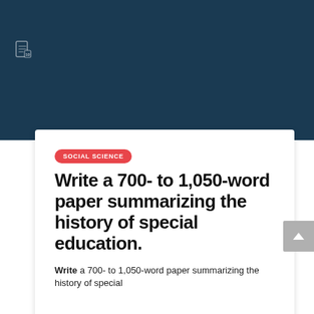[Figure (screenshot): Dark blue header background area of a website]
SOCIAL SCIENCE
Write a 700- to 1,050-word paper summarizing the history of special education.
Write a 700- to 1,050-word paper summarizing the history of special